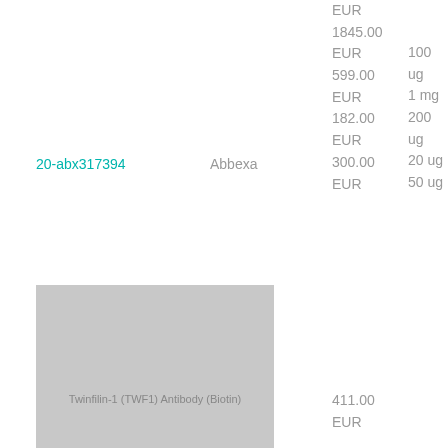EUR
1845.00
EUR
599.00
EUR
182.00
EUR
300.00
EUR
100 ug
1 mg
200 ug
20 ug
50 ug
20-abx317394
Abbexa
[Figure (photo): Product image placeholder for Twinfilin-1 (TWF1) Antibody (Biotin)]
Twinfilin-1 (TWF1) Antibody (Biotin)
411.00
EUR